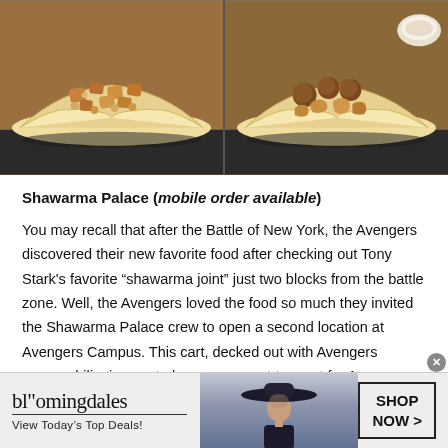[Figure (photo): Two shawarma wraps side by side — left wrap shows spiced chicken/paneer pieces, right wrap shows falafel and fried pieces, both on flatbread. Split photo with dividing line in center.]
Shawarma Palace (mobile order available)
You may recall that after the Battle of New York, the Avengers discovered their new favorite food after checking out Tony Stark's favorite “shawarma joint” just two blocks from the battle zone. Well, the Avengers loved the food so much they invited the Shawarma Palace crew to open a second location at Avengers Campus. This cart, decked out with Avengers memorabilia, is sure to become a must-try spot for Avengers fans!
[Figure (photo): Bloomingdale's advertisement banner. Shows the Bloomingdale's logo with tagline 'View Today's Top Deals!' on the left, a woman in a wide-brim hat in the center, and a 'SHOP NOW >' call-to-action button on the right.]